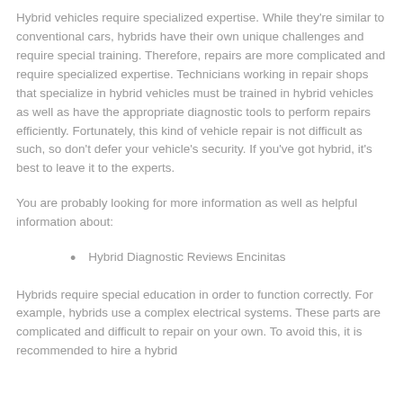Hybrid vehicles require specialized expertise. While they're similar to conventional cars, hybrids have their own unique challenges and require special training. Therefore, repairs are more complicated and require specialized expertise. Technicians working in repair shops that specialize in hybrid vehicles must be trained in hybrid vehicles as well as have the appropriate diagnostic tools to perform repairs efficiently. Fortunately, this kind of vehicle repair is not difficult as such, so don't defer your vehicle's security. If you've got hybrid, it's best to leave it to the experts.
You are probably looking for more information as well as helpful information about:
Hybrid Diagnostic Reviews Encinitas
Hybrids require special education in order to function correctly. For example, hybrids use a complex electrical systems. These parts are complicated and difficult to repair on your own. To avoid this, it is recommended to hire a hybrid